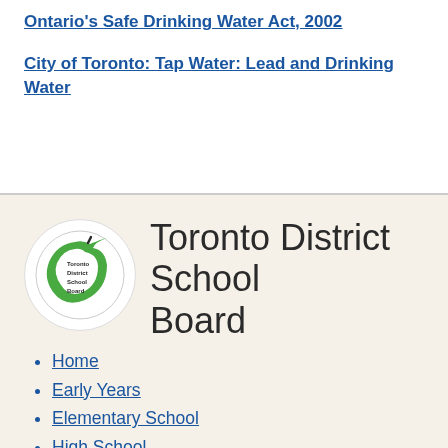Ontario's Safe Drinking Water Act, 2002
City of Toronto: Tap Water: Lead and Drinking Water
[Figure (logo): Toronto District School Board circular logo with green apple/C shape and text inside]
Toronto District School Board
Home
Early Years
Elementary School
High School
Adult Learners